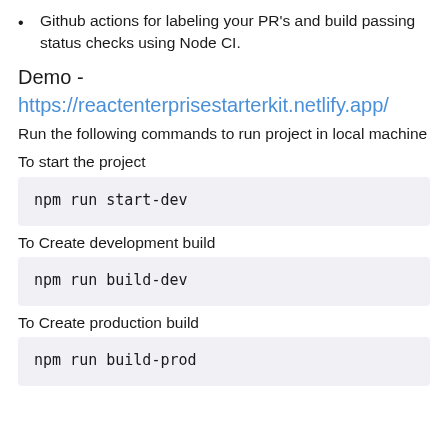Github actions for labeling your PR's and build passing status checks using Node CI.
Demo - https://reactenterprisestarterkit.netlify.app/
Run the following commands to run project in local machine
To start the project
npm run start-dev
To Create development build
npm run build-dev
To Create production build
npm run build-prod